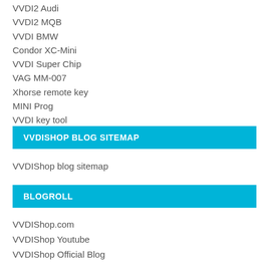VVDI2 Audi
VVDI2 MQB
VVDI BMW
Condor XC-Mini
VVDI Super Chip
VAG MM-007
Xhorse remote key
MINI Prog
VVDI key tool
VVDISHOP BLOG SITEMAP
VVDIShop blog sitemap
BLOGROLL
VVDIShop.com
VVDIShop Youtube
VVDIShop Official Blog